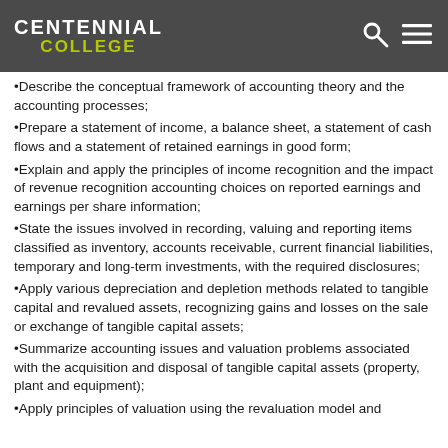Centennial College
Describe the conceptual framework of accounting theory and the accounting processes;
Prepare a statement of income, a balance sheet, a statement of cash flows and a statement of retained earnings in good form;
Explain and apply the principles of income recognition and the impact of revenue recognition accounting choices on reported earnings and earnings per share information;
State the issues involved in recording, valuing and reporting items classified as inventory, accounts receivable, current financial liabilities, temporary and long-term investments, with the required disclosures;
Apply various depreciation and depletion methods related to tangible capital and revalued assets, recognizing gains and losses on the sale or exchange of tangible capital assets;
Summarize accounting issues and valuation problems associated with the acquisition and disposal of tangible capital assets (property, plant and equipment);
Apply principles of valuation using the revaluation model and